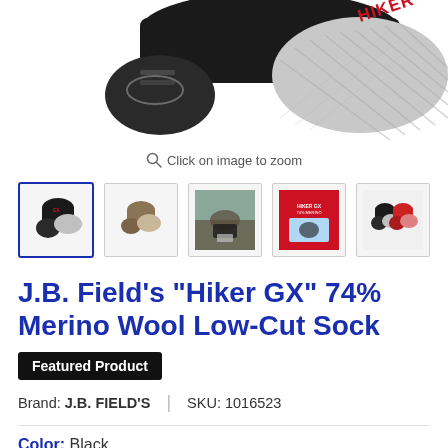[Figure (photo): Close-up of a black and grey hiking sock with red branding text, viewed from above showing the textured sole and heel area]
Click on image to zoom
[Figure (photo): Five product thumbnail images: selected black sock, tan/brown sock, sock being worn outdoors on rocks, product packaging box (red/blue), and a pair of black socks]
J.B. Field's "Hiker GX" 74% Merino Wool Low-Cut Sock
Featured Product
Brand: J.B. FIELD'S  |  SKU: 1016523
Color: Black